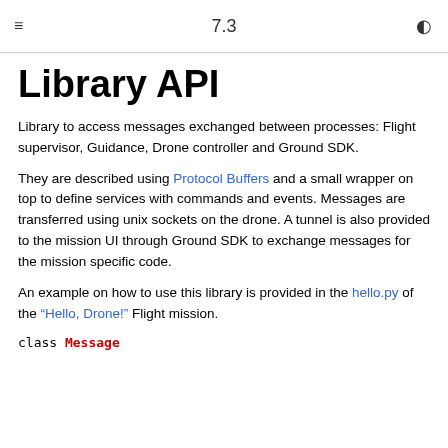7.3
Library API
Library to access messages exchanged between processes: Flight supervisor, Guidance, Drone controller and Ground SDK.
They are described using Protocol Buffers and a small wrapper on top to define services with commands and events. Messages are transferred using unix sockets on the drone. A tunnel is also provided to the mission UI through Ground SDK to exchange messages for the mission specific code.
An example on how to use this library is provided in the hello.py of the “Hello, Drone!” Flight mission.
class Message